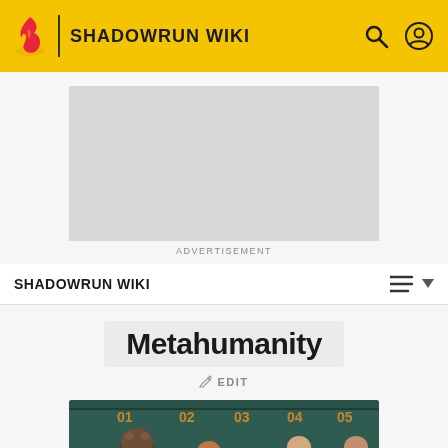SHADOWRUN WIKI
[Figure (screenshot): Advertisement placeholder box (gray rectangle)]
ADVERTISEMENT
SHADOWRUN WIKI
Metahumanity
EDIT
[Figure (photo): A lineup of Shadowrun metahuman characters against a green teal wall with numbered markers 01 through 05. Characters include a troll, an ork, and others in stylized sci-fi attire.]